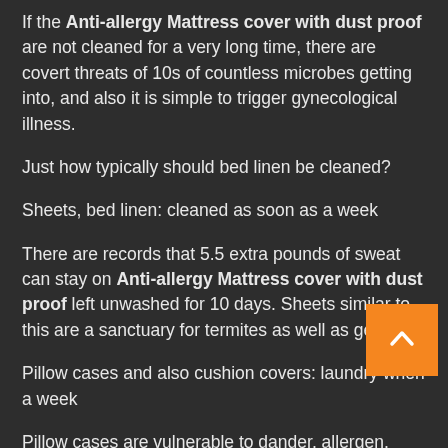If the Anti-allergy Mattress cover with dust proof are not cleaned for a very long time, there are covert threats of 10s of countless microbes getting into, and also it is simple to trigger gynecological illness.
Just how typically should bed linen be cleaned?
Sheets, bed linen: cleaned as soon as a week
There are records that 5.5 extra pounds of sweat can stay on Anti-allergy Mattress cover with dust proof left unwashed for 10 days. Sheets similar to this are a sanctuary for termites as well as germs.
Pillow cases and also cushion covers: laundry when a week
Pillow cases are vulnerable to dander, allergen, fungi, germs, in addition to oil and also dirt from hair and also skin. If you do not swap or often tend to clean them, dust...